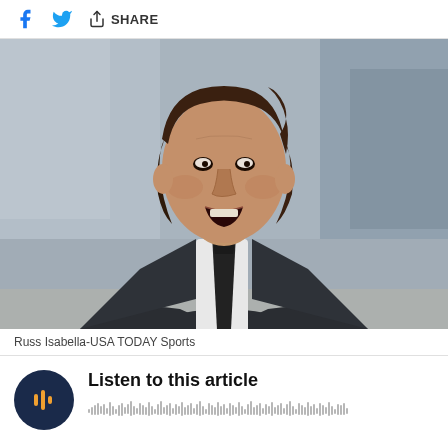f [facebook] [twitter] SHARE
[Figure (photo): A basketball coach in a dark suit and dark tie with mouth open, appearing to shout, photographed on a basketball court sideline with blurred arena seating in background.]
Russ Isabella-USA TODAY Sports
Listen to this article